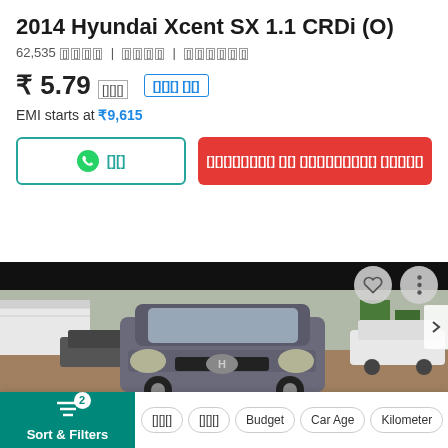2014 Hyundai Xcent SX 1.1 CRDi (O)
62,535 [km] | [fuel] | [transmission]
₹ 5.79 [lakh]  [EMI link]
EMI starts at ₹9,615
[Figure (screenshot): WhatsApp chat button (teal border) and red CTA button with Hindi text]
[Figure (photo): Photograph of a grey 2014 Hyundai Xcent front view parked on a dirt road with other cars and a wall in the background. Heart and menu icons in top right corner.]
Sort & Filters (2 active filters) | [chip] | [chip] | Budget | Car Age | Kilometer | S...